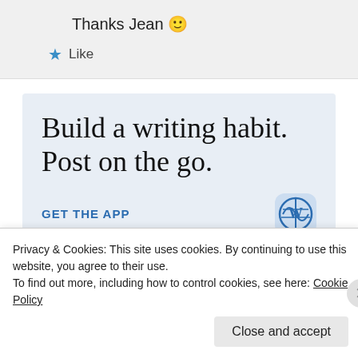Thanks Jean 🙂
★ Like
[Figure (screenshot): WordPress app advertisement banner with text 'Build a writing habit. Post on the go.' and 'GET THE APP' link with WordPress logo]
Privacy & Cookies: This site uses cookies. By continuing to use this website, you agree to their use.
To find out more, including how to control cookies, see here: Cookie Policy
Close and accept